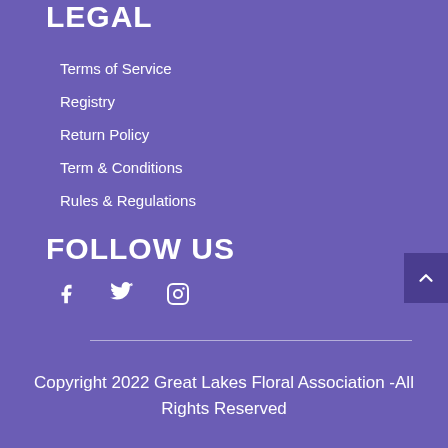LEGAL
Terms of Service
Registry
Return Policy
Term & Conditions
Rules & Regulations
FOLLOW US
[Figure (infographic): Social media icons: Facebook (f), Twitter (bird), Instagram (camera outline)]
Copyright 2022 Great Lakes Floral Association -All Rights Reserved